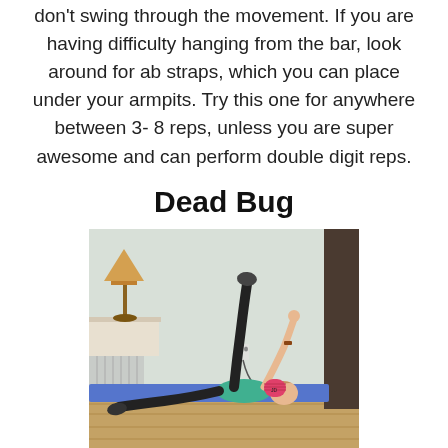don't swing through the movement. If you are having difficulty hanging from the bar, look around for ab straps, which you can place under your armpits. Try this one for anywhere between 3- 8 reps, unless you are super awesome and can perform double digit reps.
Dead Bug
[Figure (photo): A person lying on a blue exercise mat performing the Dead Bug exercise, with one leg raised vertically and opposite arm raised, a pink foam roller nearby, a floor lamp and dresser in the background.]